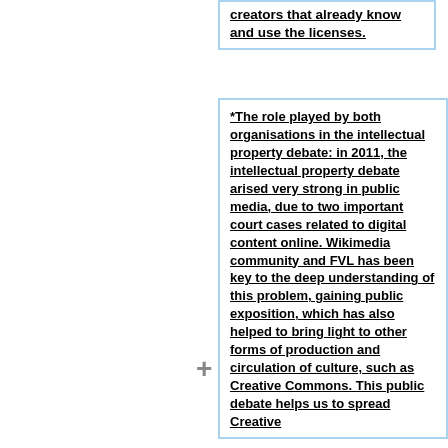creators that already know and use the licenses.
*The role played by both organisations in the intellectual property debate: in 2011, the intellectual property debate arised very strong in public media, due to two important court cases related to digital content online. Wikimedia community and FVL has been key to the deep understanding of this problem, gaining public exposition, which has also helped to bring light to other forms of production and circulation of culture, such as Creative Commons. This public debate helps us to spread Creative